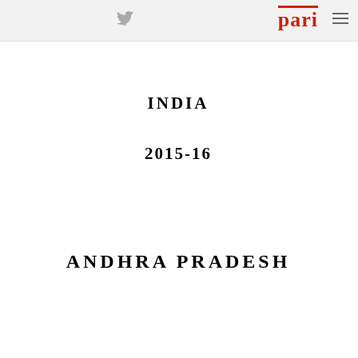pari [logo] [twitter icon] [hamburger menu]
INDIA
2015-16
ANDHRA PRADESH